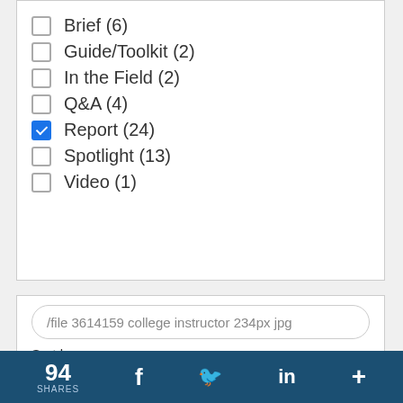Brief (6)
Guide/Toolkit (2)
In the Field (2)
Q&A (4)
Report (24)
Spotlight (13)
Video (1)
/file 3614159 college instructor 234px jpg
Sort by
Relevance  Date
94 SHARES  f  Twitter  in  +